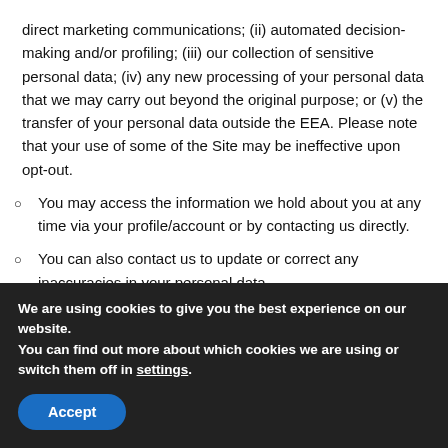direct marketing communications; (ii) automated decision-making and/or profiling; (iii) our collection of sensitive personal data; (iv) any new processing of your personal data that we may carry out beyond the original purpose; or (v) the transfer of your personal data outside the EEA. Please note that your use of some of the Site may be ineffective upon opt-out.
You may access the information we hold about you at any time via your profile/account or by contacting us directly.
You can also contact us to update or correct any inaccuracies in your personal data.
We are using cookies to give you the best experience on our website.
You can find out more about which cookies we are using or switch them off in settings.